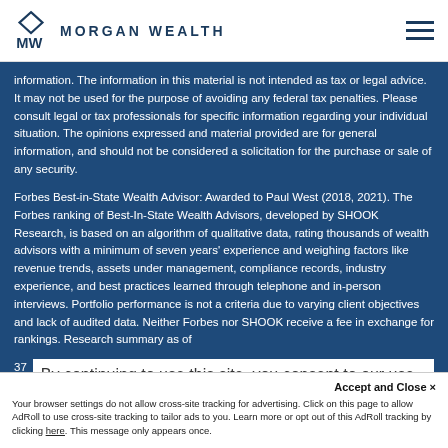MORGAN WEALTH
information. The information in this material is not intended as tax or legal advice. It may not be used for the purpose of avoiding any federal tax penalties. Please consult legal or tax professionals for specific information regarding your individual situation. The opinions expressed and material provided are for general information, and should not be considered a solicitation for the purchase or sale of any security.
Forbes Best-in-State Wealth Advisor: Awarded to Paul West (2018, 2021). The Forbes ranking of Best-In-State Wealth Advisors, developed by SHOOK Research, is based on an algorithm of qualitative data, rating thousands of wealth advisors with a minimum of seven years' experience and weighing factors like revenue trends, assets under management, compliance records, industry experience, and best practices learned through telephone and in-person interviews. Portfolio performance is not a criteria due to varying client objectives and lack of audited data. Neither Forbes nor SHOOK receive a fee in exchange for rankings. Research summary as of
By continuing to use this site, you consent to our use of cookies.
Accept and Close ✕
Your browser settings do not allow cross-site tracking for advertising. Click on this page to allow AdRoll to use cross-site tracking to tailor ads to you. Learn more or opt out of this AdRoll tracking by clicking here. This message only appears once.